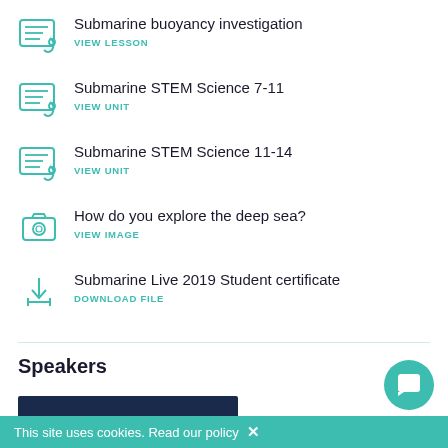Submarine buoyancy investigation
VIEW LESSON
Submarine STEM Science 7-11
VIEW UNIT
Submarine STEM Science 11-14
VIEW UNIT
How do you explore the deep sea?
VIEW IMAGE
Submarine Live 2019 Student certificate
DOWNLOAD FILE
Speakers
This site uses cookies. Read our policy ✕